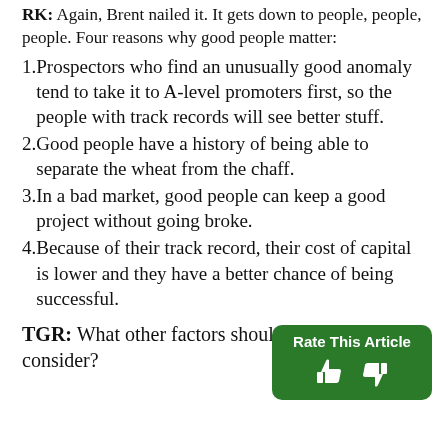RK: Again, Brent nailed it. It gets down to people, people, people. Four reasons why good people matter:
Prospectors who find an unusually good anomaly tend to take it to A-level promoters first, so the people with track records will see better stuff.
Good people have a history of being able to separate the wheat from the chaff.
In a bad market, good people can keep a good project without going broke.
Because of their track record, their cost of capital is lower and they have a better chance of being successful.
[Figure (other): Rate This Article button with thumbs up and thumbs down icons on a green rounded rectangle background]
TGR: What other factors should investors consider?